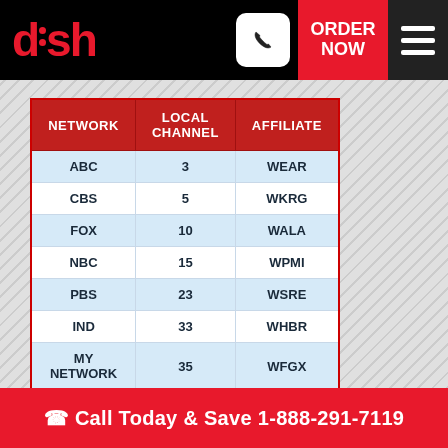[Figure (logo): DISH Network logo in red on black header bar]
| NETWORK | LOCAL CHANNEL | AFFILIATE |
| --- | --- | --- |
| ABC | 3 | WEAR |
| CBS | 5 | WKRG |
| FOX | 10 | WALA |
| NBC | 15 | WPMI |
| PBS | 23 | WSRE |
| IND | 33 | WHBR |
| MY NETWORK | 35 | WFGX |
| PBS | 42 | WEIQ |
| IND | 44 | WJTC |
| IND | 48 | WFBD |
| IND | 49 | WAWD |
Call Today & Save 1-888-291-7119